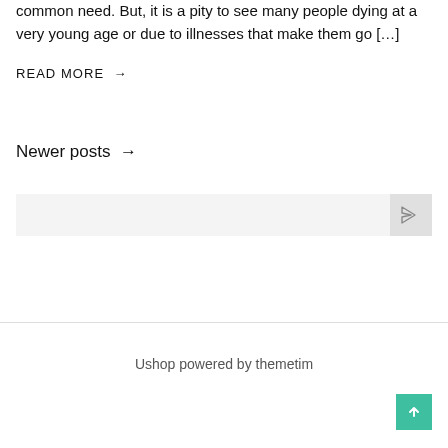common need. But, it is a pity to see many people dying at a very young age or due to illnesses that make them go […]
READ MORE →
Newer posts →
[Figure (other): Search bar input with paper plane send icon button]
Ushop powered by themetim